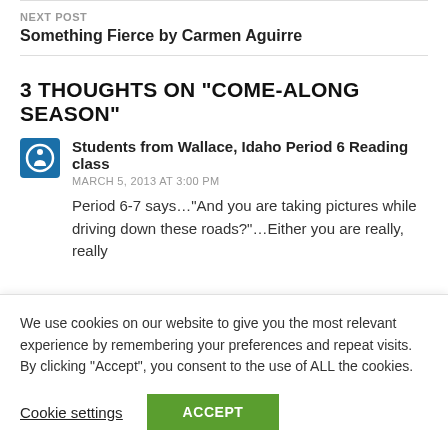NEXT POST
Something Fierce by Carmen Aguirre
3 THOUGHTS ON “COME-ALONG SEASON”
Students from Wallace, Idaho Period 6 Reading class
MARCH 5, 2013 AT 3:00 PM
Period 6-7 says…“And you are taking pictures while driving down these roads?”…Either you are really, really
We use cookies on our website to give you the most relevant experience by remembering your preferences and repeat visits. By clicking “Accept”, you consent to the use of ALL the cookies.
Cookie settings
ACCEPT